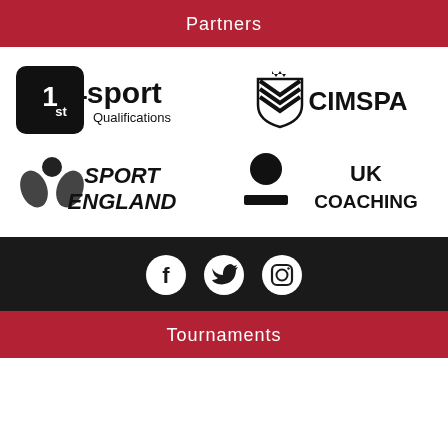Partners
[Figure (logo): 1st4sport Qualifications logo - black square with '1st' and '4sport Qualifications' text]
[Figure (logo): CIMSPA logo - shield emblem with 'CIMSPA' text]
[Figure (logo): Sport England logo - flower/person icon with 'SPORT ENGLAND' text]
[Figure (logo): UK Coaching logo - person icon with 'UK COACHING' text]
[Figure (infographic): Social media icons: Facebook, Twitter, Instagram - white circles on dark background]
Tournaments